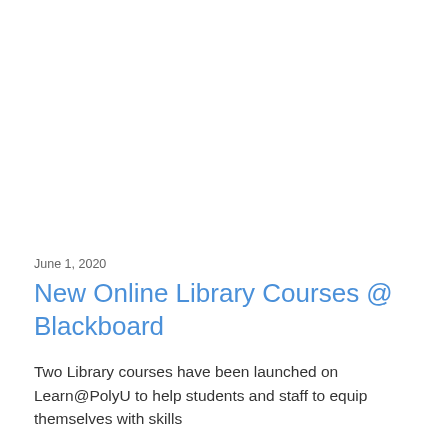June 1, 2020
New Online Library Courses @ Blackboard
Two Library courses have been launched on Learn@PolyU to help students and staff to equip themselves with skills